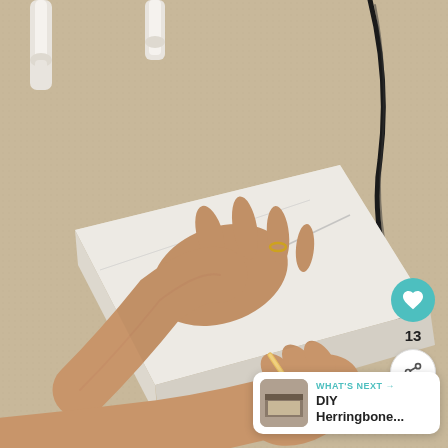[Figure (photo): A person's two hands on a beige carpeted floor, pressing down on a white square surface (possibly a box or board) and drawing or marking on it with a pencil. White furniture legs are visible in the top left, and a black electrical cord is visible on the right side of the image.]
13
WHAT'S NEXT → DIY Herringbone...